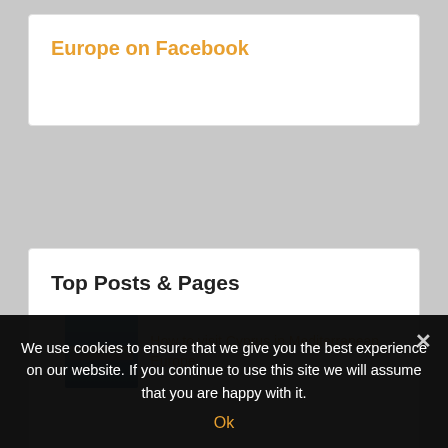Europe on Facebook
Top Posts & Pages
How to visit Cyprus in Mediterranean Europe
We use cookies to ensure that we give you the best experience on our website. If you continue to use this site we will assume that you are happy with it.
Ok